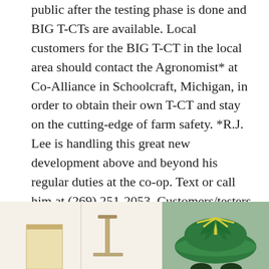public after the testing phase is done and BIG T-CTs are available. Local customers for the BIG T-CT in the local area should contact the Agronomist* at Co-Alliance in Schoolcraft, Michigan, in order to obtain their own T-CT and stay on the cutting-edge of farm safety. *R.J. Lee is handling this great new development above and beyond his regular duties at the co-op. Text or call him at (269) 251-2053. Customers/testers outside the area serviced by this co-op should contact Safety Psychographics directly for price and shipping information.
[Figure (photo): Two photos side by side at the bottom of the page. Left photo shows a beige/cream colored box and a stick-figure-like object or stand on a light background. Right photo shows a green and yellow decorative bowl or item on a gray-green background.]